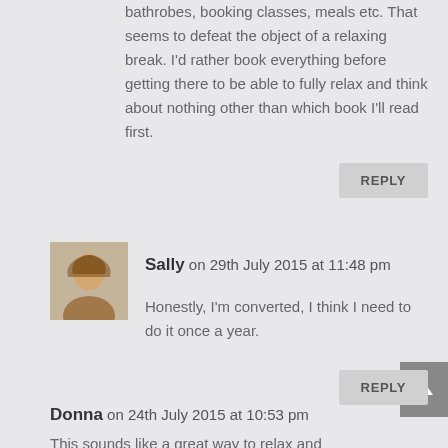bathrobes, booking classes, meals etc. That seems to defeat the object of a relaxing break. I'd rather book everything before getting there to be able to fully relax and think about nothing other than which book I'll read first.
REPLY
[Figure (photo): Avatar photo of Sally, a woman with blonde hair]
Sally on 29th July 2015 at 11:48 pm
Honestly, I'm converted, I think I need to do it once a year.
REPLY
Donna on 24th July 2015 at 10:53 pm
This sounds like a great way to relax and